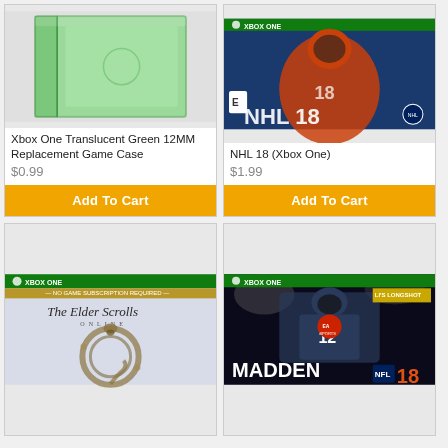[Figure (photo): Xbox One translucent green DVD game case with no disc inside, open view showing interior]
Xbox One Translucent Green 12MM Replacement Game Case
$0.99
Add To Cart
[Figure (photo): NHL 18 Xbox One game cover showing a hockey player in an orange jersey]
NHL 18 (Xbox One)
$1.99
Add To Cart
[Figure (photo): The Elder Scrolls Online Xbox One game cover with green Xbox One header and dragon ouroboros logo]
[Figure (photo): Madden NFL 18 Xbox One game cover featuring Tom Brady with EA Sports Longshot banner]